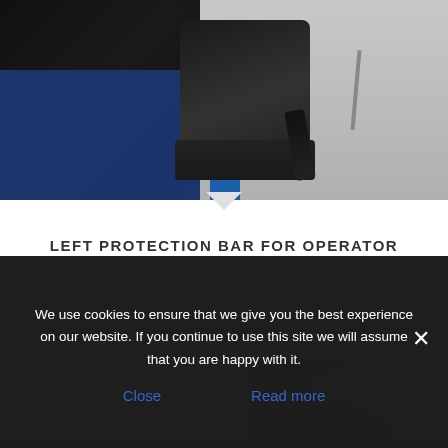[Figure (photo): Interior cab photo of heavy equipment/vehicle showing a black seat with armrest, blue floor panel, gray walls, and safety belt. A triangular arrow indicator points downward at the bottom of the image.]
LEFT PROTECTION BAR FOR OPERATOR
[Figure (photo): Partial view of vehicle/equipment component on a light gray background, partially obscured by cookie consent banner.]
We use cookies to ensure that we give you the best experience on our website. If you continue to use this site we will assume that you are happy with it.
Close
Read more